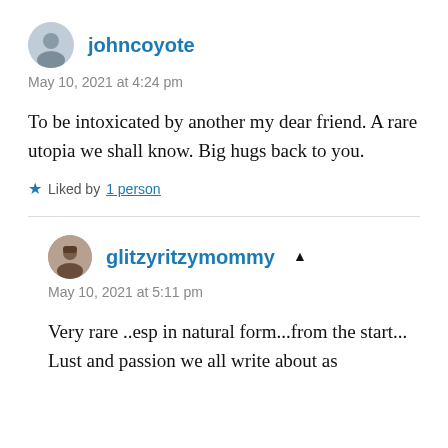johncoyote
May 10, 2021 at 4:24 pm
To be intoxicated by another my dear friend. A rare utopia we shall know. Big hugs back to you.
★ Liked by 1 person
glitzyritzymommy
May 10, 2021 at 5:11 pm
Very rare ..esp in natural form...from the start...
Lust and passion we all write about as